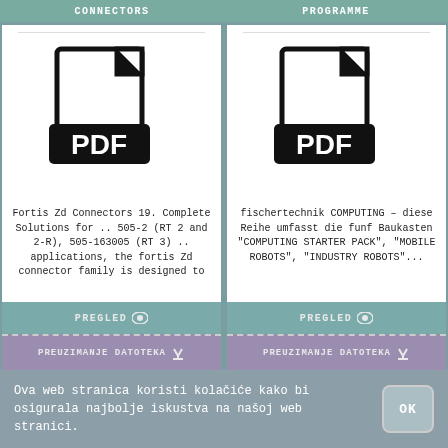CONNECTORS | PROGRAMME
[Figure (illustration): PDF file icon on left card]
Fortis Zd Connectors 19. Complete Solutions for .. 505-2 (RT 2 and 2-R), 505-163005 (RT 3) .. applications, the fortis Zd connector family is designed to
PREGLED
PREUZIMANJE DATOTEKA
[Figure (illustration): PDF file icon on right card]
fischertechnik COMPUTING - diese Reihe umfasst die funf Baukasten "COMPUTING STARTER PACK", "MOBILE ROBOTS", "INDUSTRY ROBOTS"...
PREGLED
PREUZIMANJE DATOTEKA
Ova web stranica koristi kolačiće kako bi osigurala najbolje iskustva na našoj web stranici.